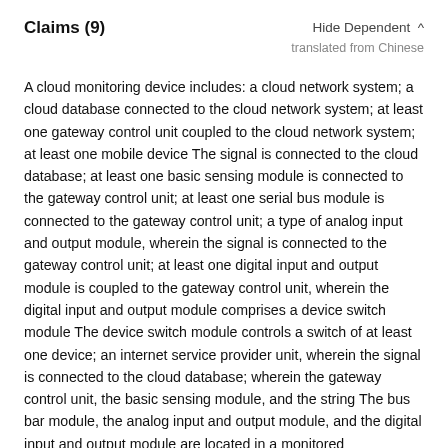Claims (9)
Hide Dependent ^
translated from Chinese
A cloud monitoring device includes: a cloud network system; a cloud database connected to the cloud network system; at least one gateway control unit coupled to the cloud network system; at least one mobile device The signal is connected to the cloud database; at least one basic sensing module is connected to the gateway control unit; at least one serial bus module is connected to the gateway control unit; a type of analog input and output module, wherein the signal is connected to the gateway control unit; at least one digital input and output module is coupled to the gateway control unit, wherein the digital input and output module comprises a device switch module The device switch module controls a switch of at least one device; an internet service provider unit, wherein the signal is connected to the cloud database; wherein the gateway control unit, the basic sensing module, and the string The bus bar module, the analog input and output module, and the digital input and output module are located in a monitored environment; a stored data module is provided by the The sensing module, the serial bus module, the analog input and output module, and the detection signal of the monitored environment via the digital input and output module are transmitted by the gateway control unit The monitoring signal of the